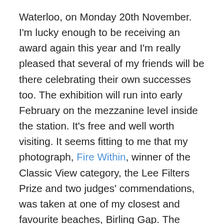Waterloo, on Monday 20th November. I'm lucky enough to be receiving an award again this year and I'm really pleased that several of my friends will be there celebrating their own successes too. The exhibition will run into early February on the mezzanine level inside the station. It's free and well worth visiting. It seems fitting to me that my photograph, Fire Within, winner of the Classic View category, the Lee Filters Prize and two judges' commendations, was taken at one of my closest and favourite beaches, Birling Gap. The rapidly eroding chalk-cliff coast of East Sussex is about as transitional as you can get and access to the beach at Birling Gap has been closed for the last 6 weeks while the steps are moved back.  The beach reopens next month, just when I am on a break from workshops, so I know where I'm going to be hanging out with my camera in December. If you're down